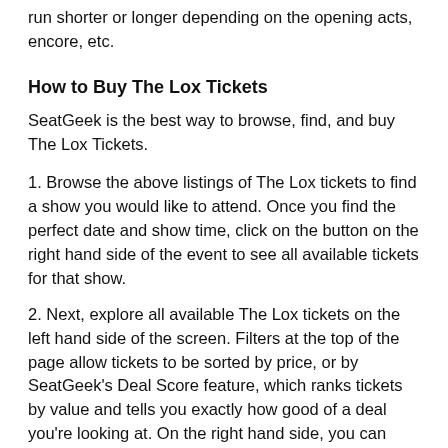run shorter or longer depending on the opening acts, encore, etc.
How to Buy The Lox Tickets
SeatGeek is the best way to browse, find, and buy The Lox Tickets.
1. Browse the above listings of The Lox tickets to find a show you would like to attend. Once you find the perfect date and show time, click on the button on the right hand side of the event to see all available tickets for that show.
2. Next, explore all available The Lox tickets on the left hand side of the screen. Filters at the top of the page allow tickets to be sorted by price, or by SeatGeek’s Deal Score feature, which ranks tickets by value and tells you exactly how good of a deal you’re looking at. On the right hand side, you can explore